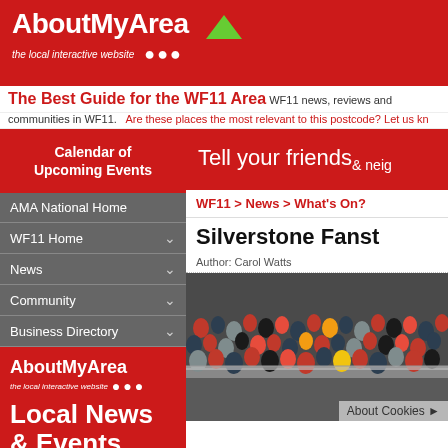[Figure (logo): AboutMyArea logo on red background with tagline 'the local interactive website' and three dots]
The Best Guide for the WF11 Area
WF11 news, reviews and communities in WF11. Are these places the most relevant to this postcode? Let us kn
Calendar of Upcoming Events
Tell your friends & neig
AMA National Home
WF11 Home
News
Community
Business Directory
WF11 > News > What's On?
Silverstone Fanst
Author: Carol Watts
[Figure (photo): Crowd of spectators at Silverstone race event, standing in grandstands]
About Cookies
[Figure (logo): AboutMyArea Local News & Events 24/7 advertisement on red background]